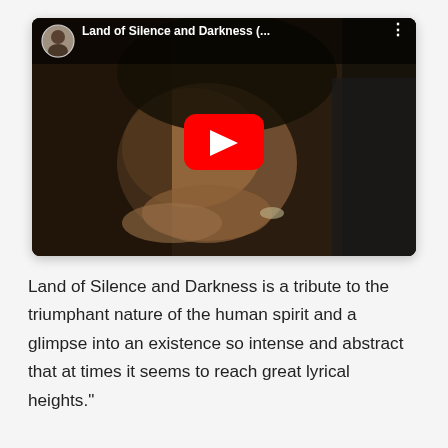[Figure (screenshot): YouTube video embed thumbnail showing 'Land of Silence and Darkness (...)' with a dark cinematic scene of a person with closed eyes and folded hands, with a red YouTube play button in the center and a channel avatar in the top-left corner.]
Land of Silence and Darkness is a tribute to the triumphant nature of the human spirit and a glimpse into an existence so intense and abstract that at times it seems to reach great lyrical heights."